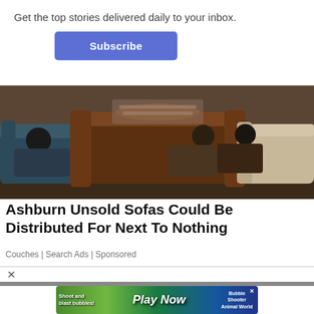Get the top stories delivered daily to your inbox.
Subscribe
[Figure (photo): People sitting on various sofas and couches in a furniture showroom, watching something together]
Ashburn Unsold Sofas Could Be Distributed For Next To Nothing
Couches | Search Ads | Sponsored
[Figure (screenshot): Mobile game advertisement banner showing 'Shoot and blast bubbles! Play Now' with Bubble Shooter Animal World branding]